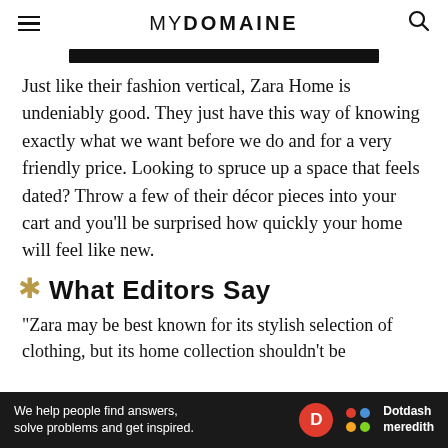MYDOMAINE
[Figure (other): Black horizontal bar, decorative divider]
Just like their fashion vertical, Zara Home is undeniably good. They just have this way of knowing exactly what we want before we do and for a very friendly price. Looking to spruce up a space that feels dated? Throw a few of their décor pieces into your cart and you'll be surprised how quickly your home will feel like new.
What Editors Say
"Zara may be best known for its stylish selection of clothing, but its home collection shouldn't be
[Figure (other): Dotdash Meredith advertisement banner: 'We help people find answers, solve problems and get inspired.']